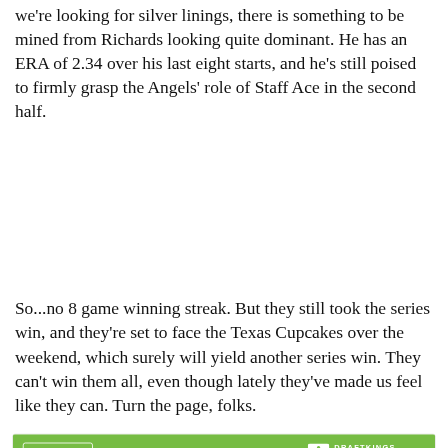we're looking for silver linings, there is something to be mined from Richards looking quite dominant. He has an ERA of 2.34 over his last eight starts, and he's still poised to firmly grasp the Angels' role of Staff Ace in the second half.
So...no 8 game winning streak. But they still took the series win, and they're set to face the Texas Cupcakes over the weekend, which surely will yield another series win. They can't win them all, even though lately they've made us feel like they can. Turn the page, folks.
[Figure (other): DraftKings Sportsbook advertisement banner with green header showing 'Bet Now!' button and DraftKings Sportsbook logo, followed by player name 'Shohei Ohtani' and betting odds row showing 'To win AL Cy Young' with odds '+5000' in green on a gray background.]